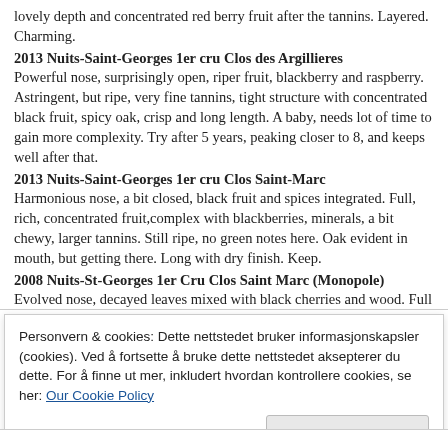lovely depth and concentrated red berry fruit after the tannins. Layered. Charming.
2013 Nuits-Saint-Georges 1er cru Clos des Argillieres
Powerful nose, surprisingly open, riper fruit, blackberry and raspberry. Astringent, but ripe, very fine tannins, tight structure with concentrated black fruit, spicy oak, crisp and long length. A baby, needs lot of time to gain more complexity. Try after 5 years, peaking closer to 8, and keeps well after that.
2013 Nuits-Saint-Georges 1er cru Clos Saint-Marc
Harmonious nose, a bit closed, black fruit and spices integrated. Full, rich, concentrated fruit,complex with blackberries, minerals, a bit chewy, larger tannins. Still ripe, no green notes here. Oak evident in mouth, but getting there. Long with dry finish. Keep.
2008 Nuits-St-Georges 1er Cru Clos Saint Marc (Monopole)
Evolved nose, decayed leaves mixed with black cherries and wood. Full body, lean style, dried fruits. I like the complexity from aging, but 2008 is still unripe and a bit green for me, it has just gotten older.
Personvern & cookies: Dette nettstedet bruker informasjonskapsler (cookies). Ved å fortsette å bruke dette nettstedet aksepterer du dette. For å finne ut mer, inkludert hvordan kontrollere cookies, se her: Our Cookie Policy
Lukk og aksepter